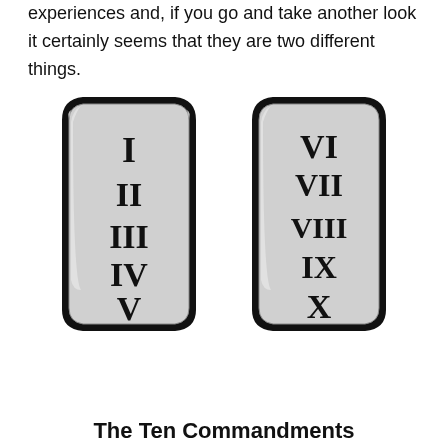experiences and, if you go and take another look it certainly seems that they are two different things.
[Figure (illustration): Two stone tablets depicting the Ten Commandments with Roman numerals I through V on the left tablet and VI through X on the right tablet]
The Ten Commandments